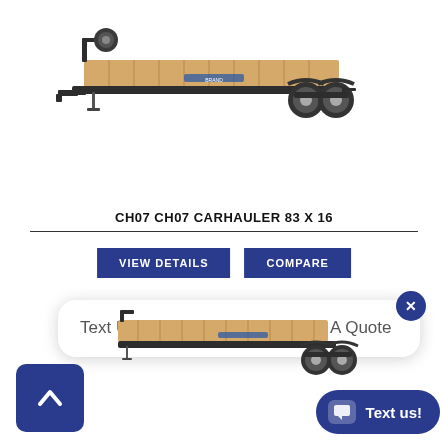[Figure (photo): Photo of a CH07 Carhauler flatbed trailer (83 x 16) with wooden deck, metal frame, two axles, viewed from the side at a slight angle.]
CH07 CH07 CARHAULER 83 X 16
VIEW DETAILS
COMPARE
Text Us For Questions Or To Get A Quote
[Figure (photo): Second photo of the same CH07 Carhauler flatbed trailer (83 x 16), partially visible at the bottom of the page.]